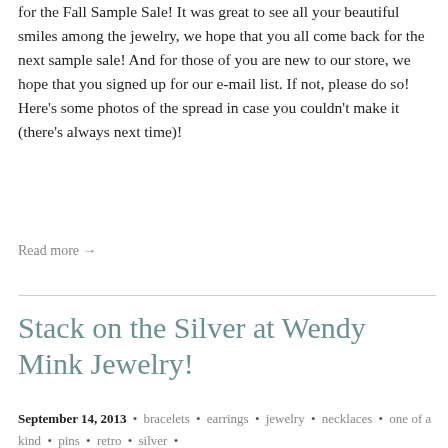for the Fall Sample Sale! It was great to see all your beautiful smiles among the jewelry, we hope that you all come back for the next sample sale! And for those of you are new to our store, we hope that you signed up for our e-mail list. If not, please do so! Here's some photos of the spread in case you couldn't make it (there's always next time)!
Read more →
Stack on the Silver at Wendy Mink Jewelry!
September 14, 2013 • bracelets • earrings • jewelry • necklaces • one of a kind • pins • retro • silver •